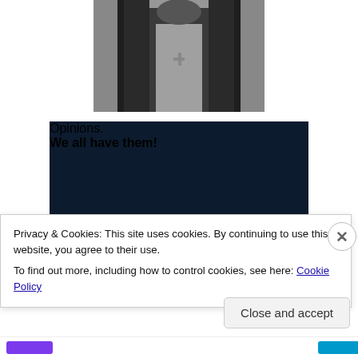[Figure (photo): Black and white historical photograph showing a person in ornate robes or vestments with decorative embroidery, partially cropped at top]
[Figure (infographic): Dark navy blue advertisement banner with text 'Opinions. We all have them!' in white serif font, with a pink/magenta button and white circle element]
Privacy & Cookies: This site uses cookies. By continuing to use this website, you agree to their use.
To find out more, including how to control cookies, see here: Cookie Policy
Close and accept